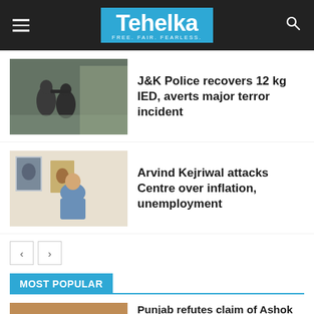Tehelka — FREE. FAIR. FEARLESS.
J&K Police recovers 12 kg IED, averts major terror incident
Arvind Kejriwal attacks Centre over inflation, unemployment
MOST POPULAR
Punjab refutes claim of Ashok Chavan that punjab drivers infected pilgrims...
May 4, 2020